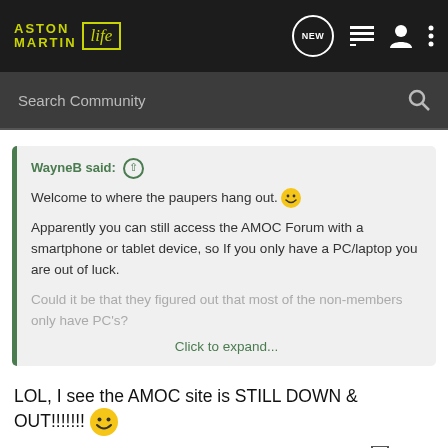Aston Martin Life — navigation bar with logo, NEW, list, user, and menu icons
Search Community
WayneB said: ⊕
Welcome to where the paupers hang out. 😀

Apparently you can still access the AMOC Forum with a smartphone or tablet device, so If you only have a PC/laptop you are out of luck.

Could it be that they figured out that most of the non-members only have PC's?
Click to expand...
LOL, I see the AMOC site is STILL DOWN & OUT!!!!!!! 😀